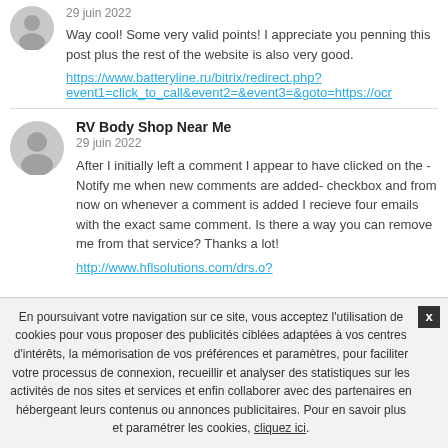29 juin 2022
Way cool! Some very valid points! I appreciate you penning this post plus the rest of the website is also very good.
https://www.batteryline.ru/bitrix/redirect.php?event1=click_to_call&event2=&event3=&goto=https://ocr
RV Body Shop Near Me
29 juin 2022
After I initially left a comment I appear to have clicked on the -Notify me when new comments are added- checkbox and from now on whenever a comment is added I recieve four emails with the exact same comment. Is there a way you can remove me from that service? Thanks a lot!
http://www.hflsolutions.com/drs.o?
En poursuivant votre navigation sur ce site, vous acceptez l'utilisation de cookies pour vous proposer des publicités ciblées adaptées à vos centres d'intérêts, la mémorisation de vos préférences et paramètres, pour faciliter votre processus de connexion, recueillir et analyser des statistiques sur les activités de nos sites et services et enfin collaborer avec des partenaires en hébergeant leurs contenus ou annonces publicitaires. Pour en savoir plus et paramétrer les cookies, cliquez ici.